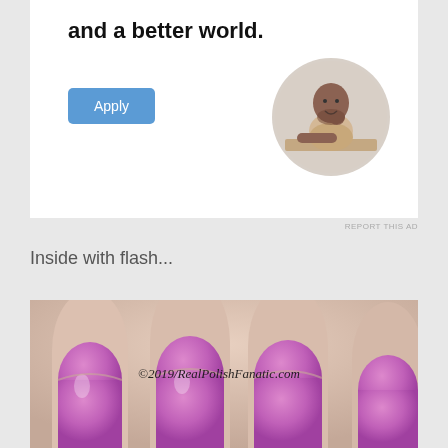[Figure (illustration): Advertisement banner with bold text 'and a better world.' and a blue Apply button, with a circular photo of a man sitting at a desk.]
REPORT THIS AD
Inside with flash...
[Figure (photo): Close-up macro photo of fingernails painted with bright purple/magenta nail polish, with watermark ©2019/RealPolishFanatic.com]